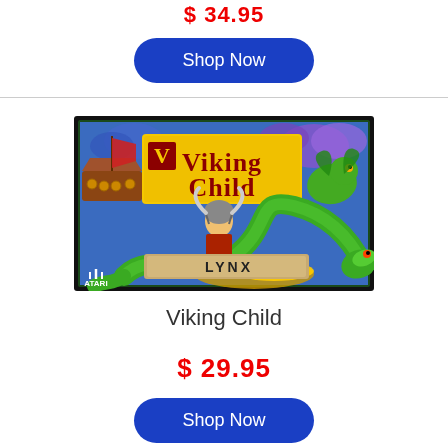$ 34.95
Shop Now
[Figure (illustration): Viking Child game cartridge box art for Atari Lynx showing a viking character, dragons, and the title 'Viking Child' on a yellow banner with Atari Lynx branding at the bottom.]
Viking Child
$ 29.95
Shop Now